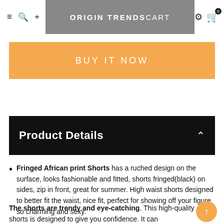≡  🔍  +  ORIGIN TRENDS  CART
BUY IT NOW
Product Details
Fringed African print Shorts has a ruched design on the surface, looks fashionable and fitted, shorts fringed(black) on sides, zip in front, great for summer. High waist shorts designed to better fit the waist, nice fit, perfect for showing off your figure, so charming and sexy.
The shorts are trendy and eye-catching. This high-quality shorts is designed to give you confidence. It can